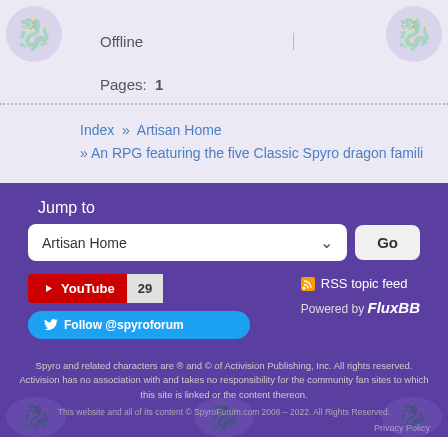Offline
Pages: 1
Index » Artisan Home » An RPG featuring the five Classic Spyro dragon famili
Jump to
Artisan Home
Go
[Figure (logo): YouTube button with count 29]
[Figure (logo): Follow @spyroforum Twitter button]
RSS topic feed
Powered by FluxBB
Spyro and related characters are ® and © of Activision Publishing, Inc. All rights reserved. Activision has no association with and takes no responsibility for the community fan sites to which this site is linked or the content thereon.
This website and all of its content © SpyroForum.com 2006 – 2022. All Rights Reserved.
Privacy Policy